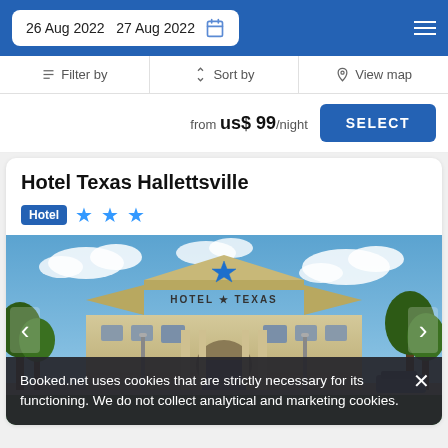26 Aug 2022  27 Aug 2022
Filter by  Sort by  View map
from us$ 99/night
SELECT
Hotel Texas Hallettsville
Hotel ★★★
[Figure (photo): Exterior photo of Hotel Texas Hallettsville building with blue star logo, tan stone facade, under partly cloudy blue sky]
Booked.net uses cookies that are strictly necessary for its functioning. We do not collect analytical and marketing cookies.